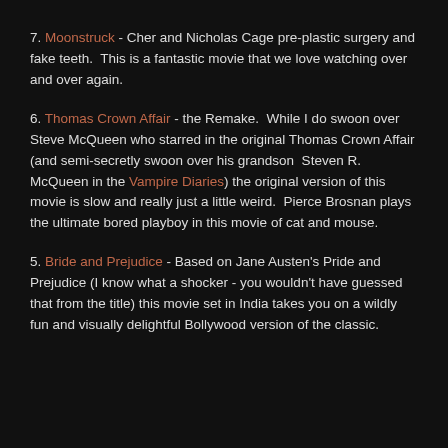7. Moonstruck - Cher and Nicholas Cage pre-plastic surgery and fake teeth.  This is a fantastic movie that we love watching over and over again.
6. Thomas Crown Affair - the Remake.  While I do swoon over Steve McQueen who starred in the original Thomas Crown Affair (and semi-secretly swoon over his grandson  Steven R. McQueen in the Vampire Diaries) the original version of this movie is slow and really just a little weird.  Pierce Brosnan plays the ultimate bored playboy in this movie of cat and mouse.
5. Bride and Prejudice - Based on Jane Austen's Pride and Prejudice (I know what a shocker - you wouldn't have guessed that from the title) this movie set in India takes you on a wildly fun and visually delightful Bollywood version of the classic.